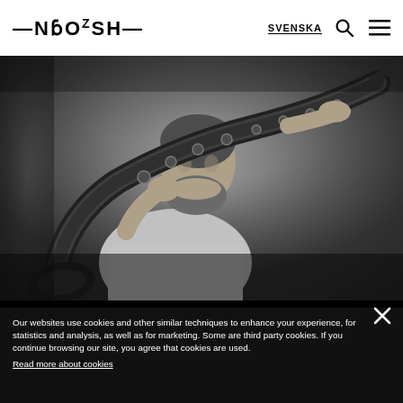—NXOZSH— SVENSKA [search] [menu]
[Figure (photo): Black and white photograph of a bearded man looking upward while holding a saxophone, shot from a low angle against a light background.]
Our websites use cookies and other similar techniques to enhance your experience, for statistics and analysis, as well as for marketing. Some are third party cookies. If you continue browsing our site, you agree that cookies are used.
Read more about cookies